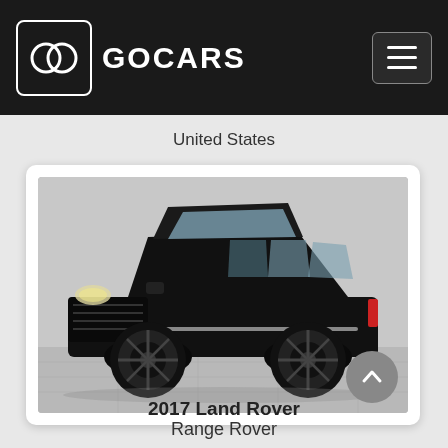GOCARS
United States
[Figure (photo): Black 2017 Land Rover Range Rover SUV photographed in a showroom with gray tile floor and white background]
2017 Land Rover
Range Rover